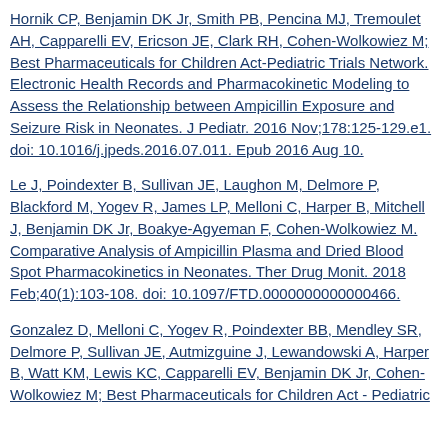Hornik CP, Benjamin DK Jr, Smith PB, Pencina MJ, Tremoulet AH, Capparelli EV, Ericson JE, Clark RH, Cohen-Wolkowiez M; Best Pharmaceuticals for Children Act-Pediatric Trials Network. Electronic Health Records and Pharmacokinetic Modeling to Assess the Relationship between Ampicillin Exposure and Seizure Risk in Neonates. J Pediatr. 2016 Nov;178:125-129.e1. doi: 10.1016/j.jpeds.2016.07.011. Epub 2016 Aug 10.
Le J, Poindexter B, Sullivan JE, Laughon M, Delmore P, Blackford M, Yogev R, James LP, Melloni C, Harper B, Mitchell J, Benjamin DK Jr, Boakye-Agyeman F, Cohen-Wolkowiez M. Comparative Analysis of Ampicillin Plasma and Dried Blood Spot Pharmacokinetics in Neonates. Ther Drug Monit. 2018 Feb;40(1):103-108. doi: 10.1097/FTD.0000000000000466.
Gonzalez D, Melloni C, Yogev R, Poindexter BB, Mendley SR, Delmore P, Sullivan JE, Autmizguine J, Lewandowski A, Harper B, Watt KM, Lewis KC, Capparelli EV, Benjamin DK Jr, Cohen-Wolkowiez M; Best Pharmaceuticals for Children Act - Pediatric